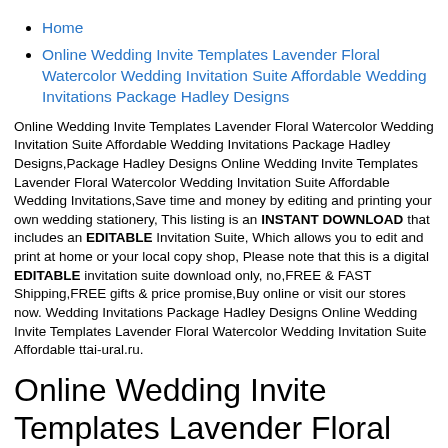Home
Online Wedding Invite Templates Lavender Floral Watercolor Wedding Invitation Suite Affordable Wedding Invitations Package Hadley Designs
Online Wedding Invite Templates Lavender Floral Watercolor Wedding Invitation Suite Affordable Wedding Invitations Package Hadley Designs,Package Hadley Designs Online Wedding Invite Templates Lavender Floral Watercolor Wedding Invitation Suite Affordable Wedding Invitations,Save time and money by editing and printing your own wedding stationery, This listing is an INSTANT DOWNLOAD that includes an EDITABLE Invitation Suite, Which allows you to edit and print at home or your local copy shop, Please note that this is a digital EDITABLE invitation suite download only, no,FREE & FAST Shipping,FREE gifts & price promise,Buy online or visit our stores now. Wedding Invitations Package Hadley Designs Online Wedding Invite Templates Lavender Floral Watercolor Wedding Invitation Suite Affordable ttai-ural.ru.
Online Wedding Invite Templates Lavender Floral Watercolor Wedding Invitation Suite Affordable Hadley